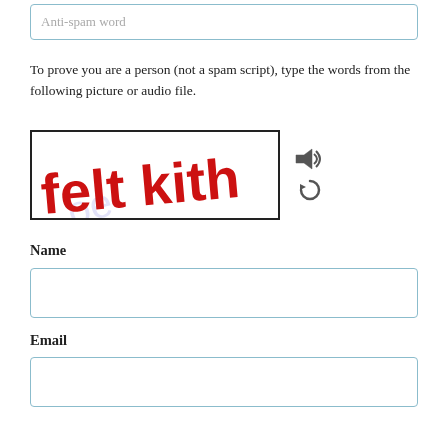Anti-spam word
To prove you are a person (not a spam script), type the words from the following picture or audio file.
[Figure (illustration): CAPTCHA image showing handwritten red text 'felt kith' with faint blue watermark text in background, inside a bordered box. To the right are two icons: a speaker/audio icon and a refresh/reload icon.]
Name
[Figure (other): Empty text input field for Name]
Email
[Figure (other): Empty text input field for Email]